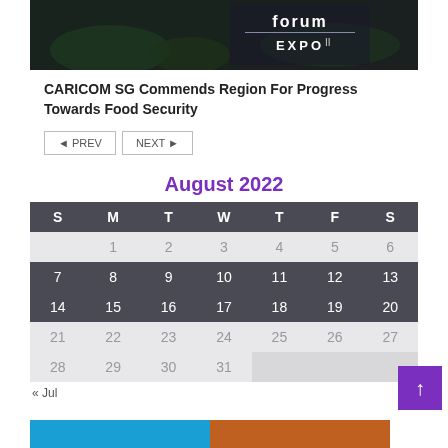[Figure (photo): Dark outdoor photo showing a Forum Expo sign/banner]
CARICOM SG Commends Region For Progress Towards Food Security
◄ PREV   NEXT ►
August 2022
| S | M | T | W | T | F | S |
| --- | --- | --- | --- | --- | --- | --- |
|  | 1 | 2 | 3 | 4 | 5 | 6 |
| 7 | 8 | 9 | 10 | 11 | 12 | 13 |
| 14 | 15 | 16 | 17 | 18 | 19 | 20 |
| 21 | 22 | 23 | 24 | 25 | 26 | 27 |
| 28 | 29 | 30 | 31 |  |  |  |
« Jul
[Figure (photo): Partial bottom image strip with colorful tones]